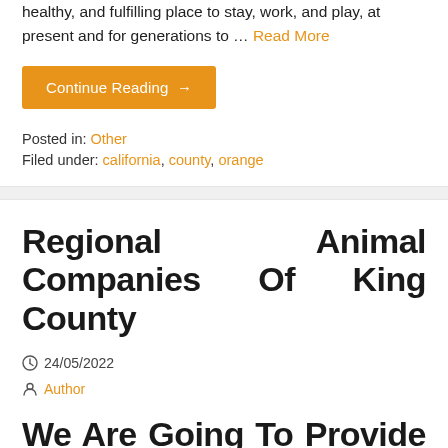healthy, and fulfilling place to stay, work, and play, at present and for generations to … Read More
Continue Reading →
Posted in: Other
Filed under: california, county, orange
Regional Animal Companies Of King County
24/05/2022
Author
We Are Going To Provide The Most Effective